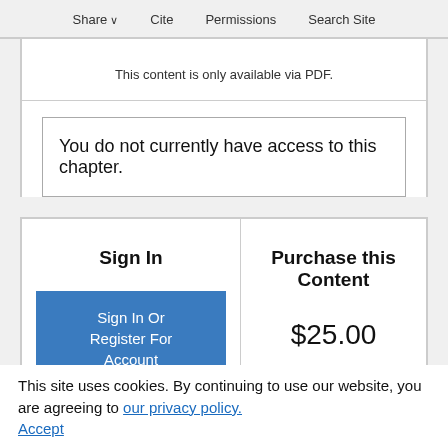Share  Cite  Permissions  Search Site
This content is only available via PDF.
You do not currently have access to this chapter.
Sign In
Purchase this Content
Sign In Or Register For Account
$25.00
This site uses cookies. By continuing to use our website, you are agreeing to our privacy policy. Accept